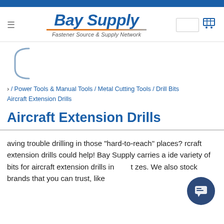Bay Supply — Fastener Source & Supply Network
/ Power Tools & Manual Tools / Metal Cutting Tools / Drill Bits / Aircraft Extension Drills
Aircraft Extension Drills
Having trouble drilling in those "hard-to-reach" places? Aircraft extension drills could help! Bay Supply carries a wide variety of bits for aircraft extension drills in different sizes. We also stock brands that you can trust, like...